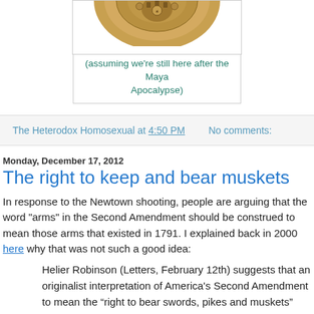[Figure (illustration): Partial view of a Mayan calendar stone disc, cropped at top]
(assuming we're still here after the Maya Apocalypse)
The Heterodox Homosexual at 4:50 PM    No comments:
Monday, December 17, 2012
The right to keep and bear muskets
In response to the Newtown shooting, people are arguing that the word "arms" in the Second Amendment should be construed to mean those arms that existed in 1791. I explained back in 2000 here why that was not such a good idea:
Helier Robinson (Letters, February 12th) suggests that an originalist interpretation of America's Second Amendment to mean the “right to bear swords, pikes and muskets” would make gun control much easier. If courts adopted this